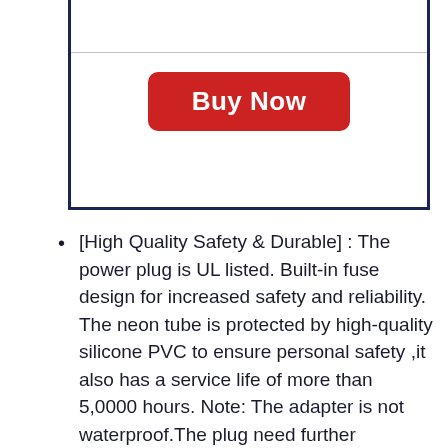[Figure (other): Buy Now button inside a bordered box with a horizontal divider line near the top]
[High Quality Safety & Durable] : The power plug is UL listed. Built-in fuse design for increased safety and reliability. The neon tube is protected by high-quality silicone PVC to ensure personal safety ,it also has a service life of more than 5,0000 hours. Note: The adapter is not waterproof.The plug need further waterproof when used outdoors.
[Cuttable & Connectable Led Neon Lights]: The blue neon rope lights, with the help of connector, can be connected to up to 150ft. Or one light can give it to some one is